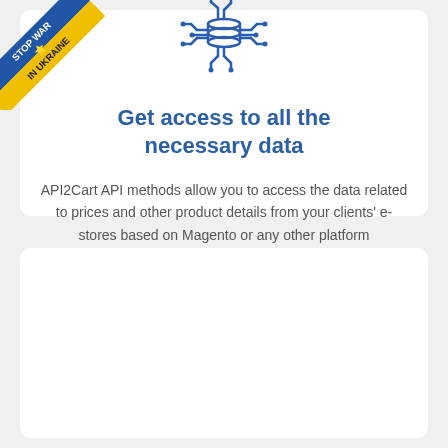[Figure (illustration): Blue circuit/database icon showing a database cylinder with circuit board connections radiating outward]
Get access to all the necessary data
API2Cart API methods allow you to access the data related to prices and other product details from your clients' e-stores based on Magento or any other platform